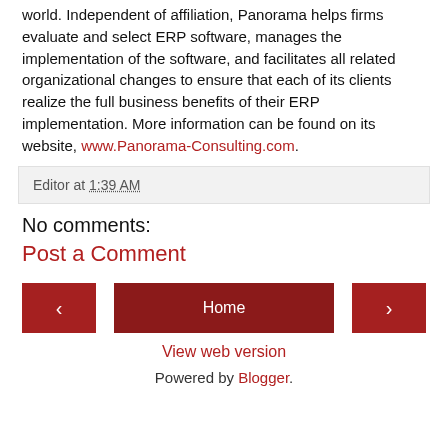world. Independent of affiliation, Panorama helps firms evaluate and select ERP software, manages the implementation of the software, and facilitates all related organizational changes to ensure that each of its clients realize the full business benefits of their ERP implementation. More information can be found on its website, www.Panorama-Consulting.com.
Editor at 1:39 AM
No comments:
Post a Comment
Home
View web version
Powered by Blogger.